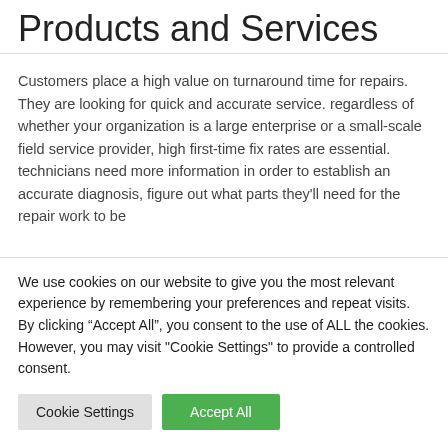Products and Services
Customers place a high value on turnaround time for repairs. They are looking for quick and accurate service. regardless of whether your organization is a large enterprise or a small-scale field service provider, high first-time fix rates are essential. technicians need more information in order to establish an accurate diagnosis, figure out what parts they'll need for the repair work to be
We use cookies on our website to give you the most relevant experience by remembering your preferences and repeat visits. By clicking “Accept All”, you consent to the use of ALL the cookies. However, you may visit "Cookie Settings" to provide a controlled consent.